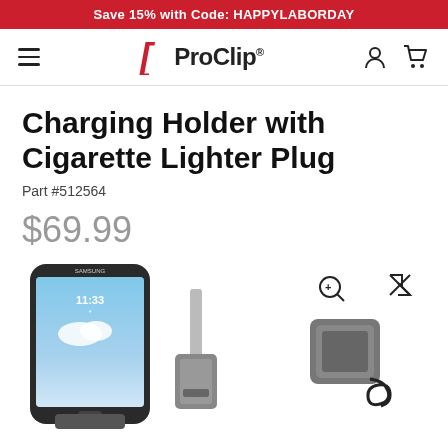Save 15% with Code: HAPPYLABORDAY
[Figure (logo): ProClip logo with red bracket and hamburger menu, user and cart icons]
Charging Holder with Cigarette Lighter Plug
Part #512564
$69.99
[Figure (photo): Product photo showing a Samsung smartphone in a charging holder with cigarette lighter plug, shown from multiple angles]